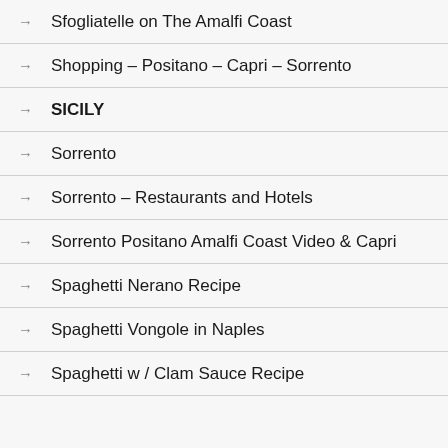→ Sfogliatelle on The Amalfi Coast
→ Shopping – Positano – Capri – Sorrento
→ SICILY
→ Sorrento
→ Sorrento – Restaurants and Hotels
→ Sorrento Positano Amalfi Coast Video & Capri
→ Spaghetti Nerano Recipe
→ Spaghetti Vongole in Naples
→ Spaghetti w / Clam Sauce Recipe